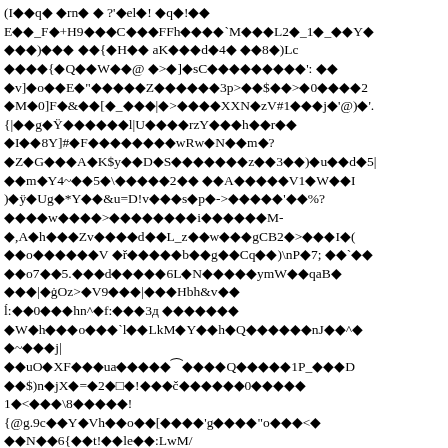(I�q��rn�� ?'�el�! �q�!�� E�_F�+H9��C���FFh����`M���L2�_1�_��Y� ���)��� ��{�H�� aK���d�4� ��8�)Lc ����{�Q��W��@ �>�]�sC���������': �� �v]�o��E�"�����Z������3p>��$��>�0����2 �M�0]F�&��[�_���|�>����XXN�zV#1���jE'@)�'.� {|��g�Ÿ������l|U����rzY���h��r�� �I��8Y]#�F��������wRw�N��m�? �Z�G���A�K$y��D�S�������z��3��)�u��d�5| ��m�Y4~��5�\�����2�� ��A�����V1�W��I )ÿ�Ug�*Y��&u=D!v���s�p�->�����'��%? ����w����>��������i������M- �,A�h���Zv����d��L_z��w���gCB2�>���I�( ��o������V �ř�����b��g��Cq��)
P�7; ��`�� ��o7��5.���d�����6L�N�����ymW��qaB� ���|�ġOz>�V9���|���Hbh&v�� ĺ:��0���hn^�f:���3д ������� �W�h���o���`l��LkM�Y��h�Q������nJ��^� �~���j| ��uO�XF���ua�����⁀����Q�����1P_���D ��$)n�jX�=�2�□�!���č������0����� 1�<���\8�����! {@g.9c��Y�Vh��o��[����'g����"o���<� ��N��6{��t!��le��:LwM/